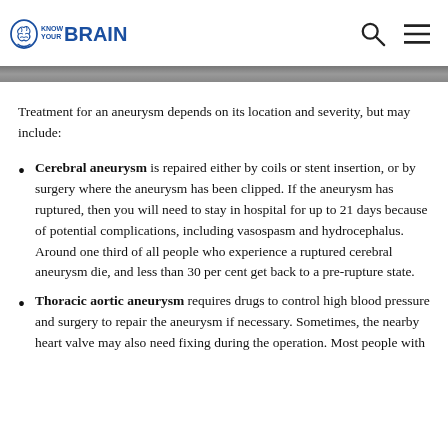KNOW YOUR BRAIN
Treatment for an aneurysm depends on its location and severity, but may include:
Cerebral aneurysm is repaired either by coils or stent insertion, or by surgery where the aneurysm has been clipped. If the aneurysm has ruptured, then you will need to stay in hospital for up to 21 days because of potential complications, including vasospasm and hydrocephalus. Around one third of all people who experience a ruptured cerebral aneurysm die, and less than 30 per cent get back to a pre-rupture state.
Thoracic aortic aneurysm requires drugs to control high blood pressure and surgery to repair the aneurysm if necessary. Sometimes, the nearby heart valve may also need fixing during the operation. Most people with